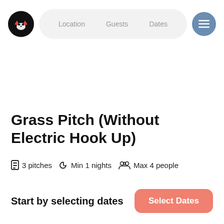Location  Guests  Dates
Grass Pitch (Without Electric Hook Up)
3 pitches   Min 1 nights   Max 4 people
Pitch
Start by selecting dates
Select Dates